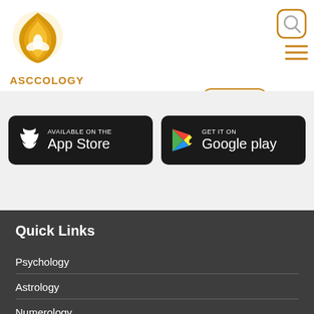[Figure (logo): ASCCOLOGY logo with golden flame/leaf emblem and text ASCCOLOGY below]
[Figure (screenshot): Search icon (magnifying glass) in gold rounded square border, top right]
[Figure (screenshot): Log In button with person icon, gold border, rounded; hamburger menu icon to its right]
[Figure (screenshot): Apple App Store download button: white Apple logo, text AVAILABLE ON THE App Store on dark background]
[Figure (screenshot): Google Play download button: colorful Play triangle logo, text GET IT ON Google play on dark background]
Quick Links
Psychology
Astrology
Numerology